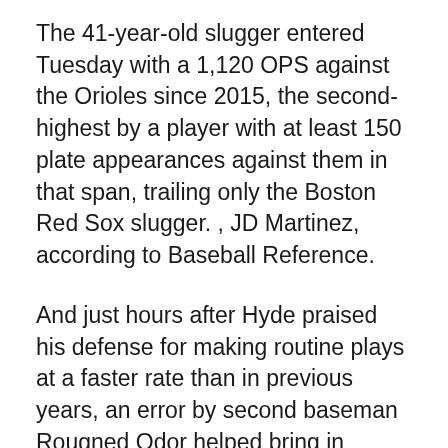The 41-year-old slugger entered Tuesday with a 1,120 OPS against the Orioles since 2015, the second-highest by a player with at least 150 plate appearances against them in that span, trailing only the Boston Red Sox slugger. , JD Martinez, according to Baseball Reference.
And just hours after Hyde praised his defense for making routine plays at a faster rate than in previous years, an error by second baseman Rougned Odor helped bring in another run. Odor spread his hips to shoot shortstop Jorge Mateo at second to start a possible inning-ending double play, but his wide throw resulted in Mateo's foot going off the bag. One run was scored and the bases remained loaded.